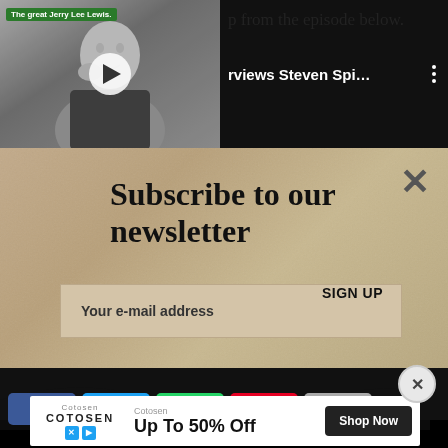[Figure (screenshot): Video thumbnail of black and white photo of a smiling man (Jerry Lee Lewis) with a play button overlay, and a green label 'The great Jerry Lee Lewis.' at top left]
p from the episode below.
rviews Steven Spi...
Subscribe to our newsletter
Your e-mail address
SIGN UP
[Figure (screenshot): Row of social sharing buttons: Facebook (blue), Twitter (blue), WhatsApp (green), Pinterest (red), and grey share button]
[Figure (screenshot): Advertisement banner for Cotosen showing 'Up To 50% Off' with Shop Now button]